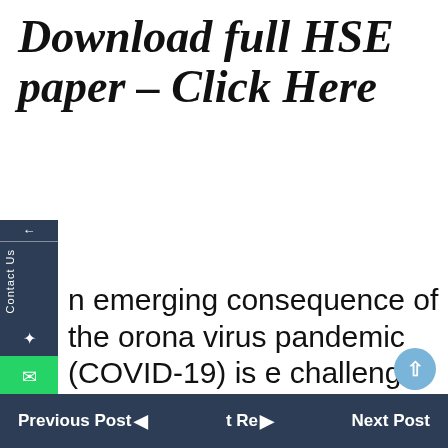Download full HSE paper – Click Here
n emerging consequence of the orona virus pandemic (COVID-19) is e challenges faced by industry in eeting the requirements to mplete statutory thorough amination and testing (TE&T) of plant and equipment to meet duties under the Lifting Operations and
Previous Post | t Re | Next Post